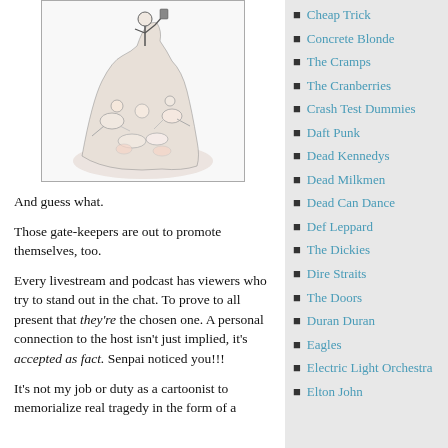[Figure (illustration): Black and white illustration showing a pile of figures/bodies with a figure on top holding something aloft, and a gold medallion/seal visible in the upper right corner of the illustration frame.]
And guess what.
Those gate-keepers are out to promote themselves, too.
Every livestream and podcast has viewers who try to stand out in the chat. To prove to all present that they're the chosen one. A personal connection to the host isn't just implied, it's accepted as fact. Senpai noticed you!!!
It's not my job or duty as a cartoonist to memorialize real tragedy in the form of a
Cheap Trick
Concrete Blonde
The Cramps
The Cranberries
Crash Test Dummies
Daft Punk
Dead Kennedys
Dead Milkmen
Dead Can Dance
Def Leppard
The Dickies
Dire Straits
The Doors
Duran Duran
Eagles
Electric Light Orchestra
Elton John